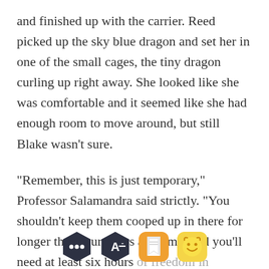and finished up with the carrier. Reed picked up the sky blue dragon and set her in one of the small cages, the tiny dragon curling up right away. She looked like she was comfortable and it seemed like she had enough room to move around, but still Blake wasn't sure.
“Remember, this is just temporary,” Professor Salamandra said strictly. “You shouldn’t keep them cooped up in there for longer than four hours at a time, and you’ll need at least six hours of freedom in between, understood? Otherwise,
[Figure (screenshot): Reading app toolbar with four icons: dark hexagon with speech bubble (comment), dark hexagon with letter A and minus (font size), orange/amber rounded square (bookmarks), and yellow rounded square with smiling face emoji (reactions).]